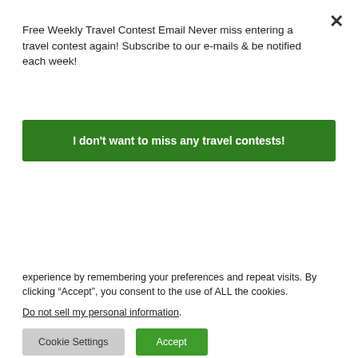Free Weekly Travel Contest Email Never miss entering a travel contest again! Subscribe to our e-mails & be notified each week!
I don't want to miss any travel contests!
[Figure (photo): Thumbnail photo of a boat/ship at a dock in London, England]
Trip from London, England – Travel Guide, Things to Do, How to Get
We use cookies on our website to give you the most relevant experience by remembering your preferences and repeat visits. By clicking “Accept”, you consent to the use of ALL the cookies.
Do not sell my personal information.
Cookie Settings
Accept